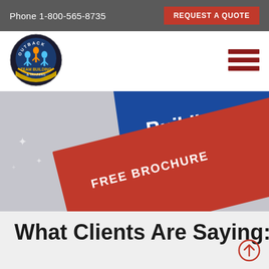Phone 1-800-565-8735
REQUEST A QUOTE
[Figure (logo): Outback Team Building & Training circular logo with figures and text]
[Figure (illustration): Hamburger menu icon with three dark red horizontal bars]
[Figure (photo): Angled brochure card showing blue section with 'Building' text and red section with 'FREE BROCHURE' text on grey background]
What Clients Are Saying:
[Figure (other): Scroll-up circle arrow icon in red outline]